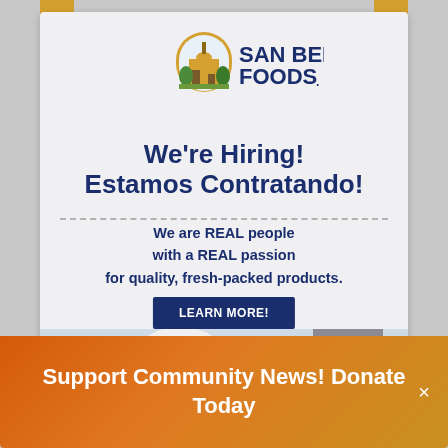[Figure (logo): San Benito Foods logo with arched building illustration and bold blue text]
We're Hiring!
Estamos Contratando!
We are REAL people with a REAL passion for quality, fresh-packed products.
LEARN MORE!
[Figure (photo): Worker wearing white hard hat at an industrial facility, building visible on right, power lines overhead]
Support Community News! Donate Today